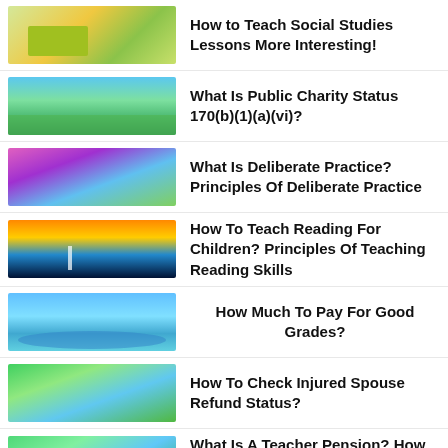How to Teach Social Studies Lessons More Interesting!
What Is Public Charity Status 170(b)(1)(a)(vi)?
What Is Deliberate Practice? Principles Of Deliberate Practice
How To Teach Reading For Children? Principles Of Teaching Reading Skills
How Much To Pay For Good Grades?
How To Check Injured Spouse Refund Status?
What Is A Teacher Pension? How Much Money Do Teachers Get For Retirement?